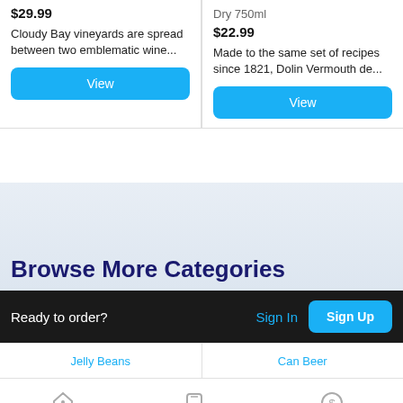$29.99
Cloudy Bay vineyards are spread between two emblematic wine...
View
Dry 750ml
$22.99
Made to the same set of recipes since 1821, Dolin Vermouth de...
View
Browse More Categories
Ready to order?
Sign In
Sign Up
Jelly Beans
Can Beer
Home
My Bag
Referrals